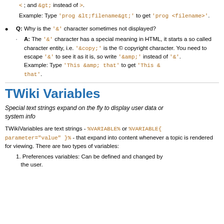< ; and &gt; instead of >.
Example: Type 'prog &lt;filename&gt;' to get 'prog <filename>'.
Q: Why is the '&' character sometimes not displayed?
A: The '&' character has a special meaning in HTML, it starts a so called character entity, i.e. '&copy;' is the © copyright character. You need to escape '&' to see it as it is, so write '&amp;' instead of '&'. Example: Type 'This &amp; that' to get 'This & that'.
TWiki Variables
Special text strings expand on the fly to display user data or system info
TWikiVariables are text strings - %VARIABLE% or %VARIABLE{parameter="value" }% - that expand into content whenever a topic is rendered for viewing. There are two types of variables:
1. Preferences variables: Can be defined and changed by the user.